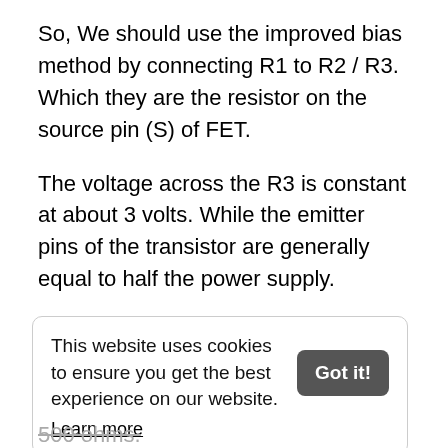So, We should use the improved bias method by connecting R1 to R2 / R3. Which they are the resistor on the source pin (S) of FET.
The voltage across the R3 is constant at about 3 volts. While the emitter pins of the transistor are generally equal to half the power supply.
Connecting the R1 to the gate like this. It is a built-in positive feedback system, also known as bootstrapping. Increasing the efficiency of the
This website uses cookies to ensure you get the best experience on our website. Learn more [Got it!]
500 ohms.